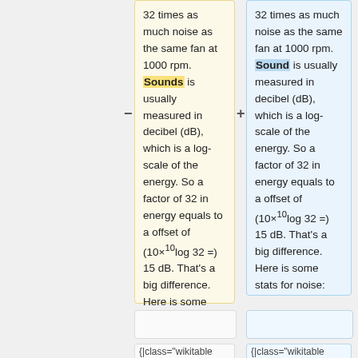32 times as much noise as the same fan at 1000 rpm. Sounds is usually measured in decibel (dB), which is a log-scale of the energy. So a factor of 32 in energy equals to a offset of (10×10log 32 =) 15 dB. That's a big difference. Here is some stats for noise:
32 times as much noise as the same fan at 1000 rpm. Sound is usually measured in decibel (dB), which is a log-scale of the energy. So a factor of 32 in energy equals to a offset of (10×10log 32 =) 15 dB. That's a big difference. Here is some stats for noise:
{|class="wikitable
{|class="wikitable